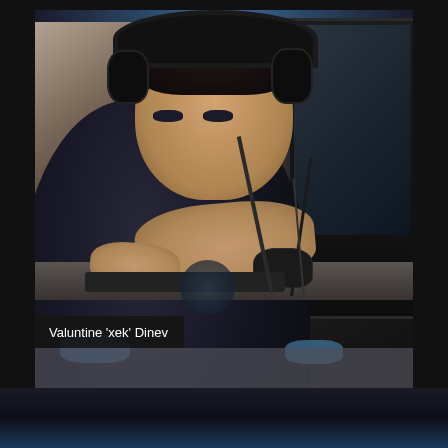[Figure (photo): An esports player wearing a black and blue gaming jersey with headphones, sitting at a desk using a computer mouse in front of a monitor. The player is identified as Valentine 'xek' Dinev.]
Valuntine 'xek' Dinev